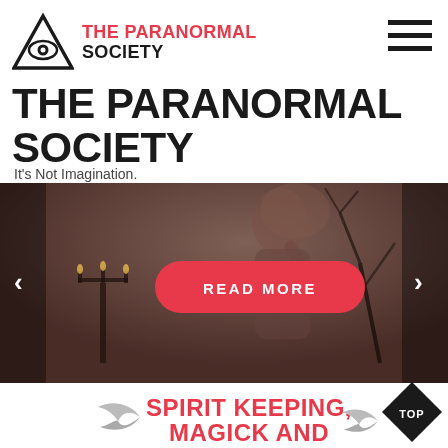THE PARANORMAL SOCIETY
THE PARANORMAL SOCIETY
It's Not Imagination.
[Figure (photo): Slider with woman in dark atmospheric setting with candles and branches, with left/right navigation arrows and a red READ MORE button]
SPIRIT KEEPING, MAGICK AND PARANORMAL COLLECTING